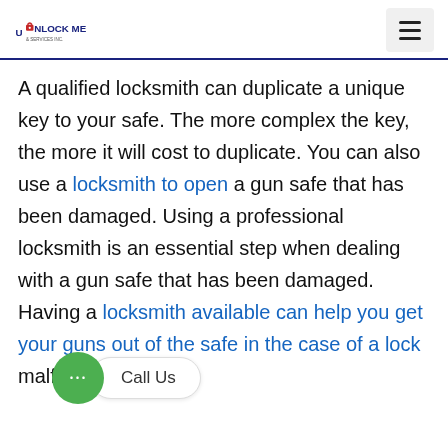Unlock Me & Services Inc.
A qualified locksmith can duplicate a unique key to your safe. The more complex the key, the more it will cost to duplicate. You can also use a locksmith to open a gun safe that has been damaged. Using a professional locksmith is an essential step when dealing with a gun safe that has been damaged. Having a locksmith available can help you get your guns out of the safe in the case of a lock malfunction or an